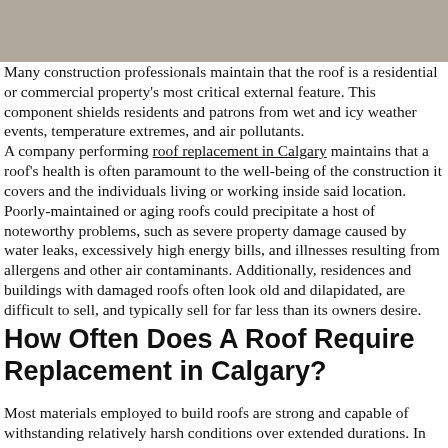[Figure (photo): Gray/brown textured background at top of page, partial view of a roof surface.]
Many construction professionals maintain that the roof is a residential or commercial property's most critical external feature. This component shields residents and patrons from wet and icy weather events, temperature extremes, and air pollutants.
A company performing roof replacement in Calgary maintains that a roof's health is often paramount to the well-being of the construction it covers and the individuals living or working inside said location.
Poorly-maintained or aging roofs could precipitate a host of noteworthy problems, such as severe property damage caused by water leaks, excessively high energy bills, and illnesses resulting from allergens and other air contaminants. Additionally, residences and buildings with damaged roofs often look old and dilapidated, are difficult to sell, and typically sell for far less than its owners desire.
How Often Does A Roof Require Replacement in Calgary?
Most materials employed to build roofs are strong and capable of withstanding relatively harsh conditions over extended durations. In many instances, a properly